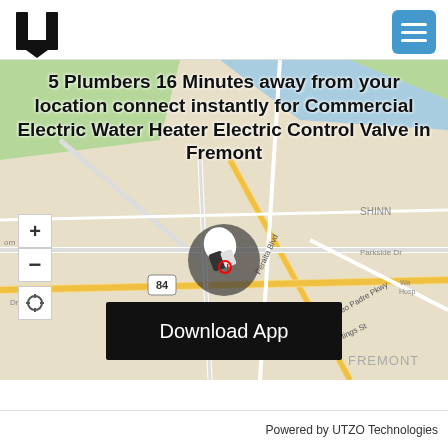[Figure (logo): UTZO U-shaped logo in black]
[Figure (screenshot): Hamburger menu icon button in blue/teal color]
[Figure (map): Street map of Fremont area showing roads, landmarks including Peralta Blvd, Paseo Padre Pkwy, Hastings St, route 84, and FREMONT label. Map marker with plumber icon visible in center.]
5 Plumbers 16 Minutes away from your location connect instantly for Commercial Electric Water Heater Electric Control Valve in Fremont
Download App
Powered by UTZO Technologies